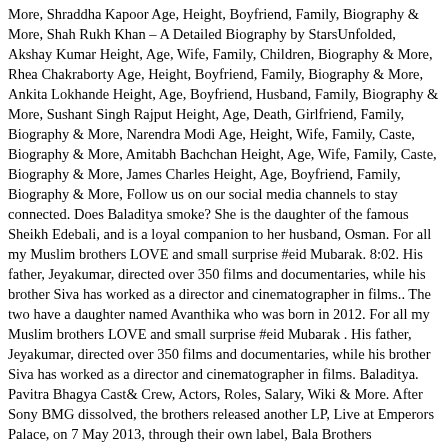More, Shraddha Kapoor Age, Height, Boyfriend, Family, Biography & More, Shah Rukh Khan – A Detailed Biography by StarsUnfolded, Akshay Kumar Height, Age, Wife, Family, Children, Biography & More, Rhea Chakraborty Age, Height, Boyfriend, Family, Biography & More, Ankita Lokhande Height, Age, Boyfriend, Husband, Family, Biography & More, Sushant Singh Rajput Height, Age, Death, Girlfriend, Family, Biography & More, Narendra Modi Age, Height, Wife, Family, Caste, Biography & More, Amitabh Bachchan Height, Age, Wife, Family, Caste, Biography & More, James Charles Height, Age, Boyfriend, Family, Biography & More, Follow us on our social media channels to stay connected. Does Baladitya smoke? She is the daughter of the famous Sheikh Edebali, and is a loyal companion to her husband, Osman. For all my Muslim brothers LOVE and small surprise #eid Mubarak. 8:02. His father, Jeyakumar, directed over 350 films and documentaries, while his brother Siva has worked as a director and cinematographer in films.. The two have a daughter named Avanthika who was born in 2012. For all my Muslim brothers LOVE and small surprise #eid Mubarak . His father, Jeyakumar, directed over 350 films and documentaries, while his brother Siva has worked as a director and cinematographer in films. Baladitya. Pavitra Bhagya Cast& Crew, Actors, Roles, Salary, Wiki & More. After Sony BMG dissolved, the brothers released another LP, Live at Emperors Palace, on 7 May 2013, through their own label, Bala Brothers Production. Christian Bale, in full Christian Charles Philip Bale, (born January 30, 1974, Haverfordwest, Pembrokeshire, Wales), Welsh-born English actor who was known for his portrayal of complex psychologically tormented characters. The actor made a comeback to Tamil films in 2014 after appearing as one of Ajith Kumar's fan, brothers in Veeram [1]. The brothers are also joint...